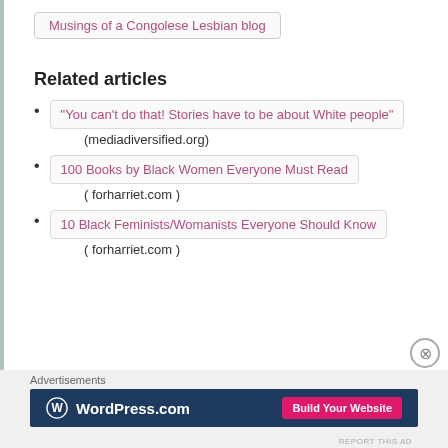Musings of a Congolese Lesbian blog
Related articles
“You can’t do that! Stories have to be about White people” (mediadiversified.org)
100 Books by Black Women Everyone Must Read ( forharriet.com )
10 Black Feminists/Womanists Everyone Should Know ( forharriet.com )
Advertisements
[Figure (screenshot): WordPress.com advertisement banner with dark blue background, WordPress logo and name on left, and pink 'Build Your Website' button on right]